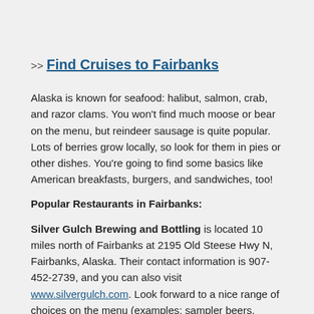>> Find Cruises to Fairbanks
Alaska is known for seafood: halibut, salmon, crab, and razor clams. You won't find much moose or bear on the menu, but reindeer sausage is quite popular. Lots of berries grow locally, so look for them in pies or other dishes. You're going to find some basics like American breakfasts, burgers, and sandwiches, too!
Popular Restaurants in Fairbanks:
Silver Gulch Brewing and Bottling is located 10 miles north of Fairbanks at 2195 Old Steese Hwy N, Fairbanks, Alaska. Their contact information is 907-452-2739, and you can also visit www.silvergulch.com. Look forward to a nice range of choices on the menu (examples: sampler beers, scotch eggs, onion rings, fruit and cheese tray, mussels, salmon on a plank, burgers, cod and chips, pork chops with brie and grilled prawns), service staff are attentive and friendly, the made-on-site-beer is amazing. 5-star meal at a 3-star price.